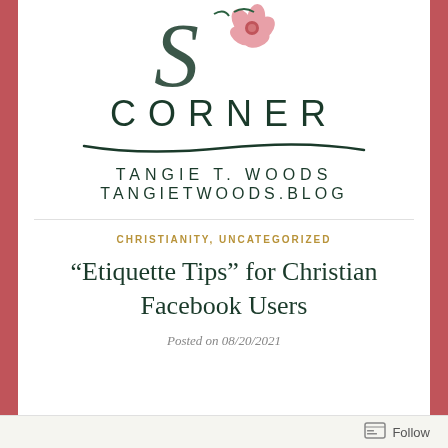[Figure (logo): Tangie T. Woods blog logo with decorative script letter, flower illustration, CORNER text, swash underline, author name and blog URL]
CHRISTIANITY, UNCATEGORIZED
“Etiquette Tips” for Christian Facebook Users
Posted on 08/20/2021
[Figure (other): Follow button icon at bottom right]